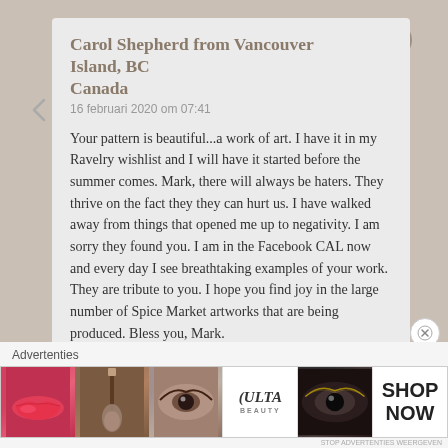Carol Shepherd from Vancouver Island, BC, Canada
16 februari 2020 om 07:41
Your pattern is beautiful...a work of art. I have it in my Ravelry wishlist and I will have it started before the summer comes. Mark, there will always be haters. They thrive on the fact they they can hurt us. I have walked away from things that opened me up to negativity. I am sorry they found you. I am in the Facebook CAL now and every day I see breathtaking examples of your work. They are tribute to you. I hope you find joy in the large number of Spice Market artworks that are being produced. Bless you, Mark.
Geliked door 1 persoon
Advertenties
[Figure (photo): Advertisement banner showing makeup/beauty products including lips, brush, eye makeup, ULTA beauty logo, and SHOP NOW text]